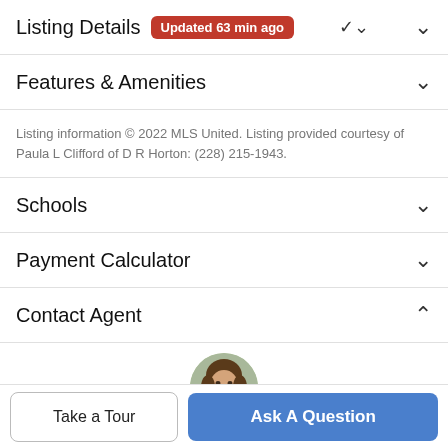Listing Details  Updated 63 min ago
Features & Amenities
Listing information © 2022 MLS United. Listing provided courtesy of Paula L Clifford of D R Horton: (228) 215-1943.
Schools
Payment Calculator
Contact Agent
[Figure (photo): Circular profile photo of a woman agent with brown hair, smiling, outdoors background]
Take a Tour
Ask A Question